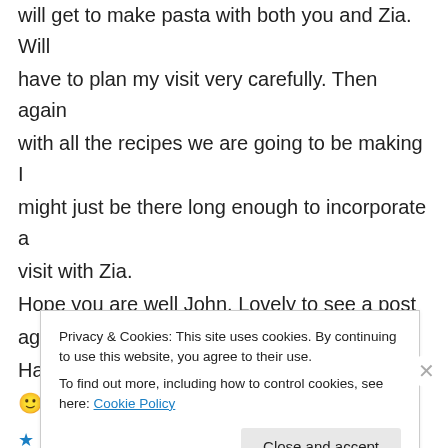will get to make pasta with both you and Zia. Will have to plan my visit very carefully. Then again with all the recipes we are going to be making I might just be there long enough to incorporate a visit with Zia.
Hope you are well John. Lovely to see a post again.
Have a wonderful day.
🙂 Mandy xo
★ Liked by 1 person
Privacy & Cookies: This site uses cookies. By continuing to use this website, you agree to their use.
To find out more, including how to control cookies, see here: Cookie Policy
Close and accept